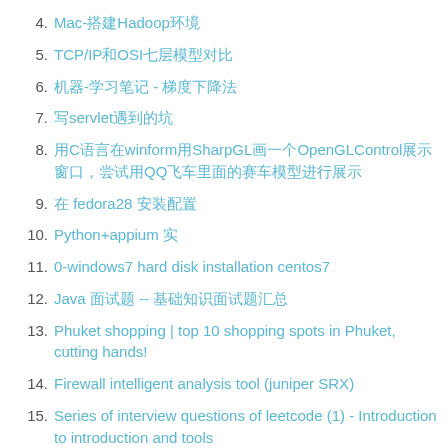4. Mac-搭建Hadoop环境
5. TCP/IP和OSI七层模型对比
6. 机器-学习笔记 - 梯度下降法
7. 写servlet遇到的坑
8. 用C语言在winform用SharpGL画一个OpenGLControl展示窗口，尝试用QQ飞车里面的赛车模型进行展示
9. 在 fedora28 安装配置
10. Python+appium 实
11. 0-windows7 hard disk installation centos7
12. Java 面试题 -- 基础知识面试题汇总
13. Phuket shopping | top 10 shopping spots in Phuket, cutting hands!
14. Firewall intelligent analysis tool (juniper SRX)
15. Series of interview questions of leetcode (1) - Introduction to introduction and tools
16. Another monitoring posture: timing alarm system b